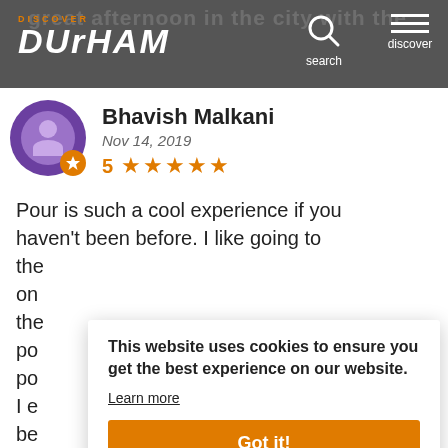DISCOVER DURHAM — search discover
Bhavish Malkani
Nov 14, 2019
5 ★★★★★
Pour is such a cool experience if you haven't been before. I like going to the on the po po I es be
This website uses cookies to ensure you get the best experience on our website.
Learn more
Got it!